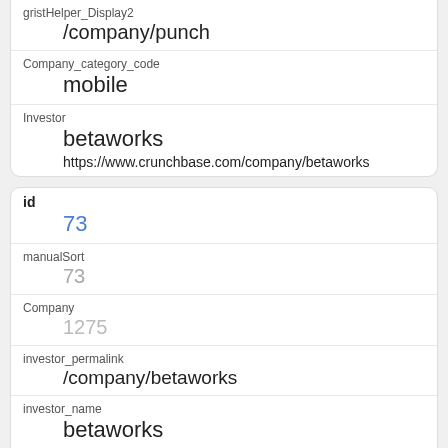gristHelper_Display2
/company/punch
Company_category_code
mobile
Investor
betaworks
https://www.crunchbase.com/company/betaworks
id
73
manualSort
73
Company
1275
investor_permalink
/company/betaworks
investor_name
betaworks
investor_category_code
social